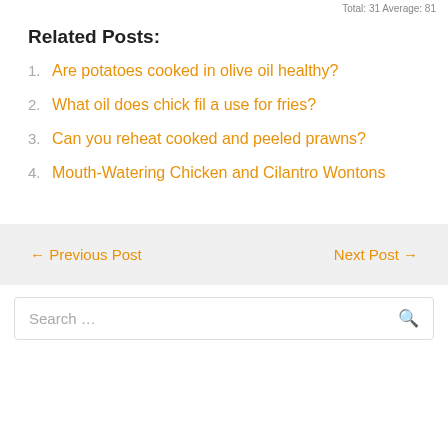Total: 31 Average: 81
Related Posts:
Are potatoes cooked in olive oil healthy?
What oil does chick fil a use for fries?
Can you reheat cooked and peeled prawns?
Mouth-Watering Chicken and Cilantro Wontons
← Previous Post   Next Post →
Search …